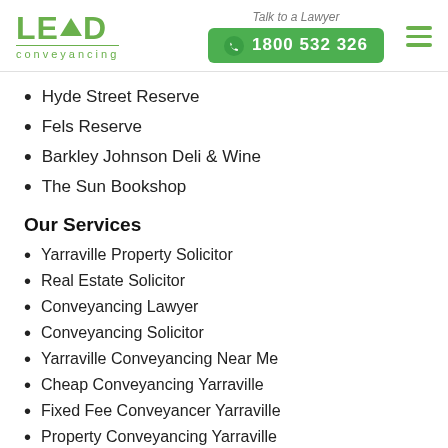[Figure (logo): LEAD conveyancing logo with green triangle in the word LEAD and green underline, plus phone button showing 1800 532 326 and hamburger menu icon]
Hyde Street Reserve
Fels Reserve
Barkley Johnson Deli & Wine
The Sun Bookshop
Our Services
Yarraville Property Solicitor
Real Estate Solicitor
Conveyancing Lawyer
Conveyancing Solicitor
Yarraville Conveyancing Near Me
Cheap Conveyancing Yarraville
Fixed Fee Conveyancer Yarraville
Property Conveyancing Yarraville